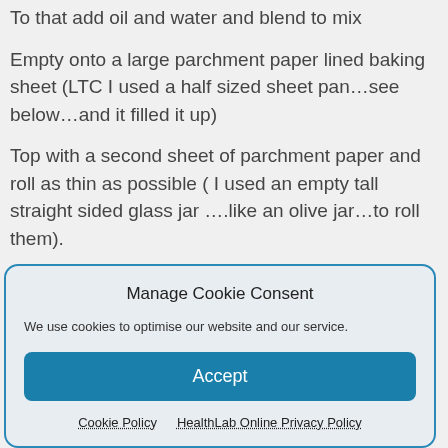To that add oil and water and blend to mix
Empty onto a large parchment paper lined baking sheet (LTC I used a half sized sheet pan…see below…and it filled it up)
Top with a second sheet of parchment paper and roll as thin as possible ( I used an empty tall straight sided glass jar ….like an olive jar…to roll them).
Manage Cookie Consent
We use cookies to optimise our website and our service.
Accept
Cookie Policy   HealthLab Online Privacy Policy